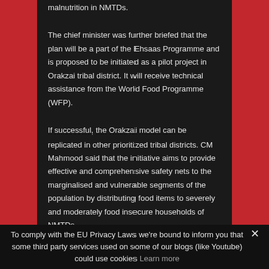malnutrition in NMTDs.
The chief minister was further briefed that the plan will be a part of the Ehsaas Programme and is proposed to be initiated as a pilot project in Orakzai tribal district. It will receive technical assistance from the World Food Programme (WFP).
If successful, the Orakzai model can be replicated in other prioritized tribal districts. CM Mahmood said that the initiative aims to provide effective and comprehensive safety nets to the marginalised and vulnerable segments of the population by distributing food items to severely and moderately food insecure households of NMTDs.
Published in The Express Tribune, January 27th, 2020.
https://tribune.com.pk/story/2144818/1-govt-
To comply with the EU Privacy Laws we're bound to inform you that some third party services used on some of our blogs (like Youtube) could use cookies Learn more